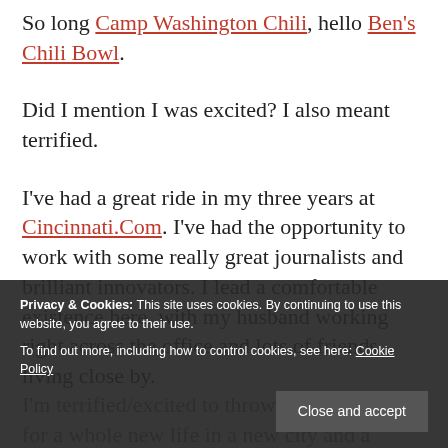So long Camp Washington Chili, hello Ben's Chili Bowl.
Did I mention I was excited? I also meant terrified.
I've had a great ride in my three years at Cincinnati.Com. I've had the opportunity to work with some really great journalists and brilliant innovators. I lead a comfortable existence here, with my husband working right across the office and lots of friends living close by.
I'm terrified/excited to throw away all I know for a whole new life in a new city and a company with a new way of doing business. I think I'm running out of
Privacy & Cookies: This site uses cookies. By continuing to use this website, you agree to their use. To find out more, including how to control cookies, see here: Cookie Policy
Close and accept